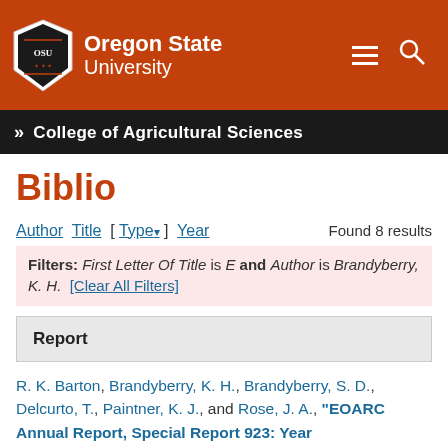[Figure (logo): Oregon State University logo with shield and text on dark orange header bar, with hamburger menu and search icons on the right]
» College of Agricultural Sciences
Biblio
Author Title [ Type▼ ] Year    Found 8 results
Filters: First Letter Of Title is E and Author is Brandyberry, K. H.  [Clear All Filters]
Report
R. K. Barton, Brandyberry, K. H., Brandyberry, S. D., Delcurto, T., Paintner, K. J., and Rose, J. A., "EOARC Annual Report, Special Report 923: Year